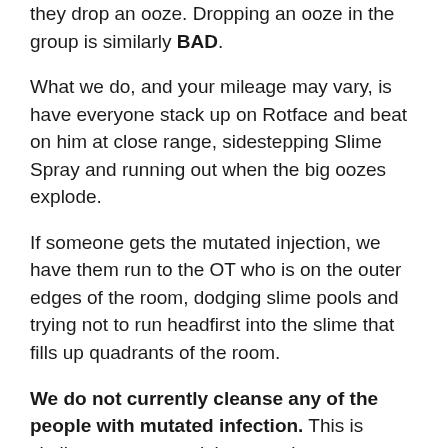they drop an ooze. Dropping an ooze in the group is similarly BAD.
What we do, and your mileage may vary, is have everyone stack up on Rotface and beat on him at close range, sidestepping Slime Spray and running out when the big oozes explode.
If someone gets the mutated injection, we have them run to the OT who is on the outer edges of the room, dodging slime pools and trying not to run headfirst into the slime that fills up quadrants of the room.
We do not currently cleanse any of the people with mutated infection. This is similar to most people's strategies on Grobbulus in Naxxramas.